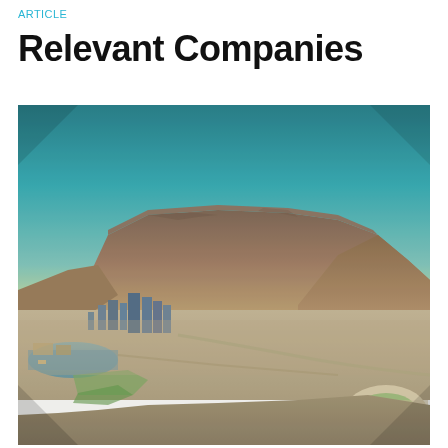ARTICLE
Relevant Companies
[Figure (photo): Aerial view of Cape Town, South Africa, showing Table Mountain in the background with flat top, surrounding peaks, and the city below including the V&A Waterfront harbor, residential areas, and a stadium in the lower right. The image has a vintage/warm toned filter with teal sky.]